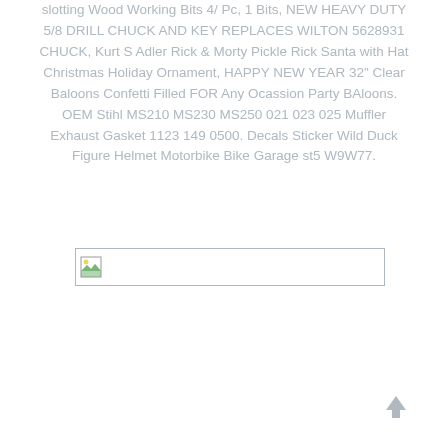slotting Wood Working Bits 4/ Pc, 1 Bits, NEW HEAVY DUTY 5/8 DRILL CHUCK AND KEY REPLACES WILTON 5628931 CHUCK, Kurt S Adler Rick & Morty Pickle Rick Santa with Hat Christmas Holiday Ornament, HAPPY NEW YEAR 32" Clear Baloons Confetti Filled FOR Any Ocassion Party BAloons. OEM Stihl MS210 MS230 MS250 021 023 025 Muffler Exhaust Gasket 1123 149 0500. Decals Sticker Wild Duck Figure Helmet Motorbike Bike Garage st5 W9W77.
[Figure (other): Broken image placeholder icon with small landscape thumbnail]